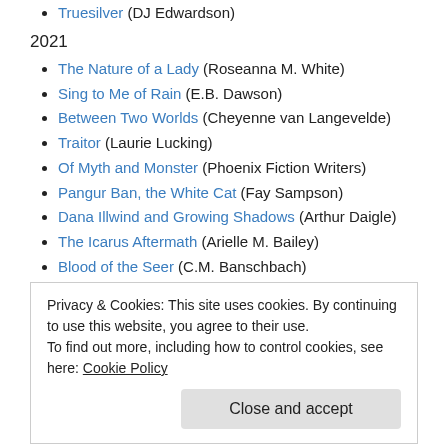Truesilver (DJ Edwardson)
2021
The Nature of a Lady (Roseanna M. White)
Sing to Me of Rain (E.B. Dawson)
Between Two Worlds (Cheyenne van Langevelde)
Traitor (Laurie Lucking)
Of Myth and Monster (Phoenix Fiction Writers)
Pangur Ban, the White Cat (Fay Sampson)
Dana Illwind and Growing Shadows (Arthur Daigle)
The Icarus Aftermath (Arielle M. Bailey)
Blood of the Seer (C.M. Banschbach)
Into the Heartless Wood (Joanna Ruth Meyer)
Privacy & Cookies: This site uses cookies. By continuing to use this website, you agree to their use. To find out more, including how to control cookies, see here: Cookie Policy
Mardan's Anointed (Kathrese McKee)